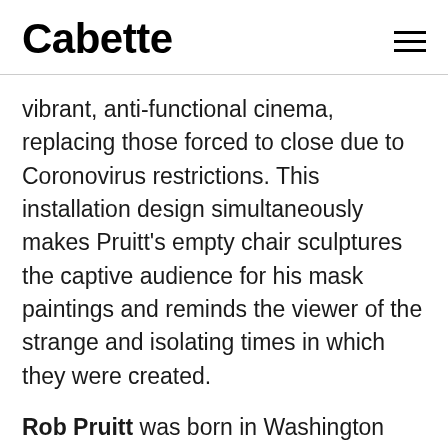Cabette
vibrant, anti-functional cinema, replacing those forced to close due to Coronovirus restrictions. This installation design simultaneously makes Pruitt’s empty chair sculptures the captive audience for his mask paintings and reminds the viewer of the strange and isolating times in which they were created.
Rob Pruitt was born in Washington D.C. in 1964, and studied at the Corcoran College